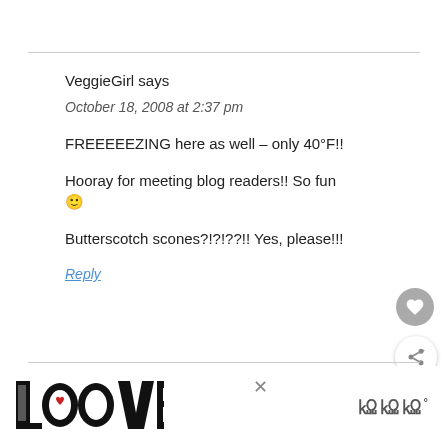VeggieGirl says
October 18, 2008 at 2:37 pm
FREEEEEZING here as well – only 40°F!!
Hooray for meeting blog readers!! So fun 🙂
Butterscotch scones?!?!??!! Yes, please!!!
Reply
[Figure (screenshot): LOOVE decorative text logo in black and white with red accent]
× WWW°